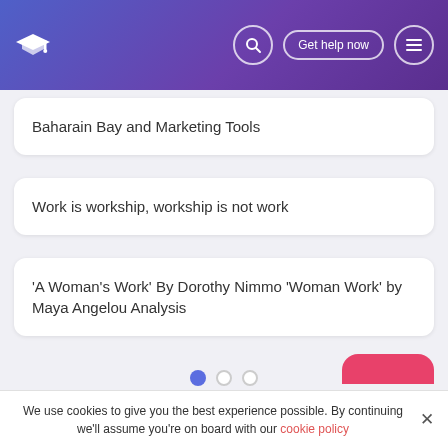Get help now
Baharain Bay and Marketing Tools
Work is workship, workship is not work
'A Woman's Work' By Dorothy Nimmo 'Woman Work' by Maya Angelou Analysis
We use cookies to give you the best experience possible. By continuing we'll assume you're on board with our cookie policy